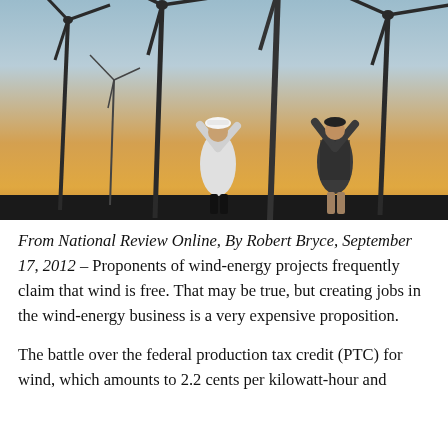[Figure (photo): Two workers in hard hats looking up at large wind turbines against a sunset sky with warm orange and golden tones.]
From National Review Online, By Robert Bryce, September 17, 2012 – Proponents of wind-energy projects frequently claim that wind is free. That may be true, but creating jobs in the wind-energy business is a very expensive proposition.
The battle over the federal production tax credit (PTC) for wind, which amounts to 2.2 cents per kilowatt-hour and